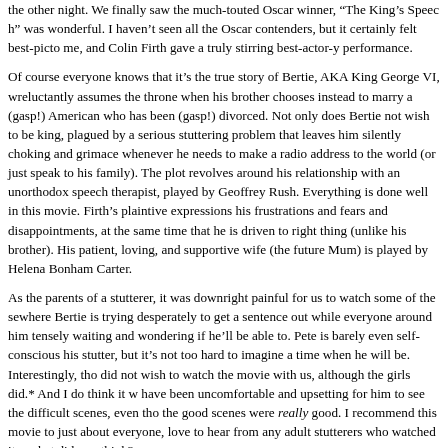the other night. We finally saw the much-touted Oscar winner, "The King's Speech" was wonderful. I haven't seen all the Oscar contenders, but it certainly felt best-picture to me, and Colin Firth gave a truly stirring best-actor-y performance.
Of course everyone knows that it's the true story of Bertie, AKA King George VI, who reluctantly assumes the throne when his brother chooses instead to marry a (gasp!) American who has been (gasp!) divorced. Not only does Bertie not wish to be king, he's plagued by a serious stuttering problem that leaves him silently choking and grimacing whenever he needs to make a radio address to the world (or just speak to his family). The plot revolves around his relationship with an unorthodox speech therapist, played by Geoffrey Rush. Everything is done well in this movie. Firth's plaintive expressions convey his frustrations and fears and disappointments, at the same time that he is driven to do the right thing (unlike his brother). His patient, loving, and supportive wife (the future Queen Mum) is played by Helena Bonham Carter.
As the parents of a stutterer, it was downright painful for us to watch some of the scenes where Bertie is trying desperately to get a sentence out while everyone around him is tensely waiting and wondering if he'll be able to. Pete is barely even self-conscious about his stutter, but it's not too hard to imagine a time when he will be. Interestingly, though, he did not wish to watch the movie with us, although the girls did.* And I do think it would have been uncomfortable and upsetting for him to see the difficult scenes, even though the good scenes were really good. I recommend this movie to just about everyone, and I'd love to hear from any adult stutterers who watched it—what did you think?
*Yes, we know it's rated R, which is positively insane. There is one scene in which